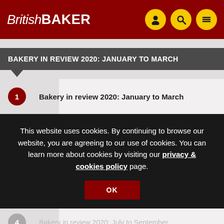British BAKER
BAKERY IN REVIEW 2020: JANUARY TO MARCH
1 Bakery in review 2020: January to March
This website uses cookies. By continuing to browse our website, you are agreeing to our use of cookies. You can learn more about cookies by visiting our privacy & cookies policy page.
OK
4 Bakery in review 2020: July to September